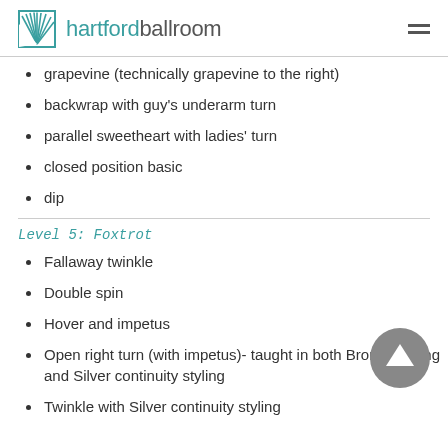hartfordballroom
grapevine (technically grapevine to the right)
backwrap with guy's underarm turn
parallel sweetheart with ladies' turn
closed position basic
dip
Level 5: Foxtrot
Fallaway twinkle
Double spin
Hover and impetus
Open right turn (with impetus)- taught in both Bronze styling and Silver continuity styling
Twinkle with Silver continuity styling